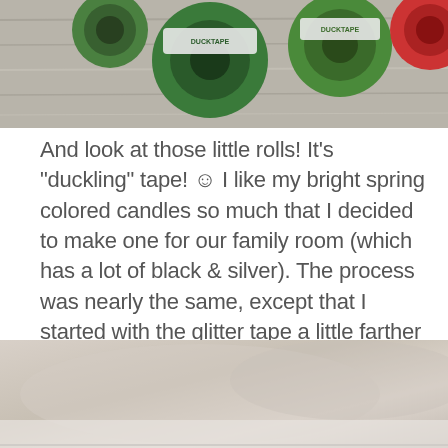[Figure (photo): Top portion of photo showing rolls of Duck tape / Duckling tape in green, red, and other colors on a wooden surface]
And look at those little rolls! It's "duckling" tape! ☺ I like my bright spring colored candles so much that I decided to make one for our family room (which has a lot of black & silver). The process was nearly the same, except that I started with the glitter tape a little farther up. And, then, I added the small black tape around the bottom!
[Figure (photo): Bottom portion of photo showing a blurred close-up of a candle surface with beige/tan tones]